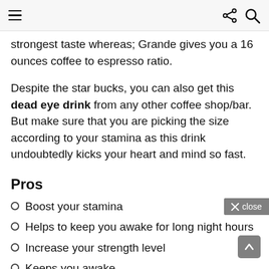strongest taste whereas; Grande gives you a 16 ounces coffee to espresso ratio.
Despite the star bucks, you can also get this dead eye drink from any other coffee shop/bar. But make sure that you are picking the size according to your stamina as this drink undoubtedly kicks your heart and mind so fast.
Pros
Boost your stamina
Helps to keep you awake for long night hours
Increase your strength level
Keeps you awake